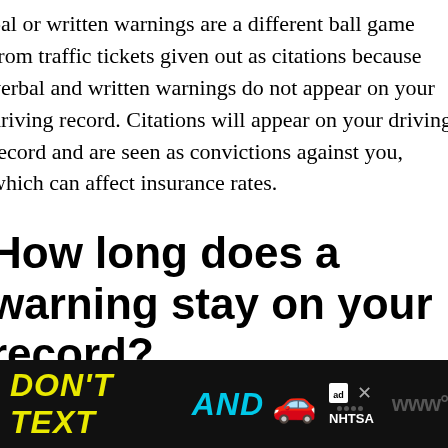bal or written warnings are a different ball game from traffic tickets given out as citations because verbal and written warnings do not appear on your driving record. Citations will appear on your driving record and are seen as convictions against you, which can affect insurance rates.
How long does a warning stay on your record?
[Figure (other): Advertisement banner: DON'T TEXT AND [car emoji] with ad badge and NHTSA logo on black background]